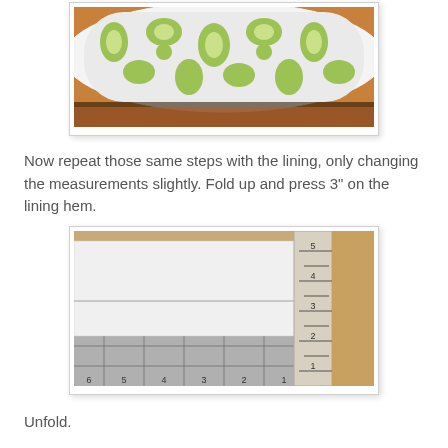[Figure (photo): Photo of green and white damask patterned fabric placed over what appears to be a rounded surface, showing the fabric from above on a wooden surface.]
Now repeat those same steps with the lining, only changing the measurements slightly. Fold up and press 3" on the lining hem.
[Figure (photo): Photo of white fabric folded and placed on a cutting mat with a ruler, showing a measurement of approximately 3 inches on the lining hem.]
Unfold.